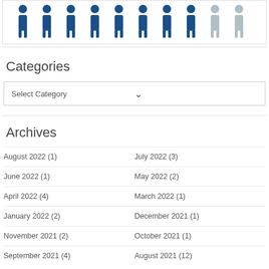[Figure (infographic): Row of blue person/human silhouette icons, mostly dark blue with two lighter grey ones at the right end]
Categories
Select Category
Archives
August 2022 (1)
July 2022 (3)
June 2022 (1)
May 2022 (2)
April 2022 (4)
March 2022 (1)
January 2022 (2)
December 2021 (1)
November 2021 (2)
October 2021 (1)
September 2021 (4)
August 2021 (12)